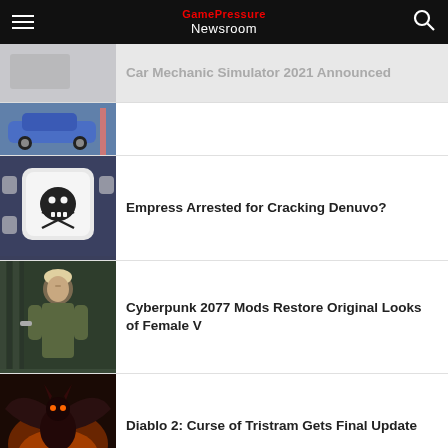Newsroom
Car Mechanic Simulator 2021 Announced
Empress Arrested for Cracking Denuvo?
Cyberpunk 2077 Mods Restore Original Looks of Female V
Diablo 2: Curse of Tristram Gets Final Update